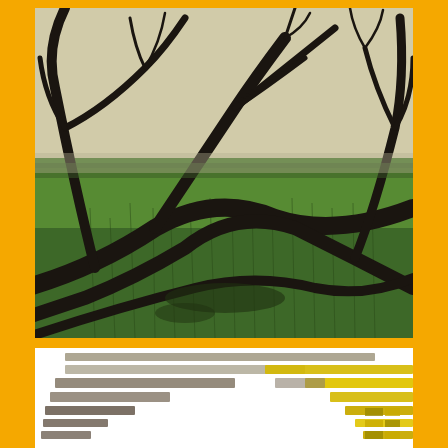[Figure (photo): Photograph of bare dark twisted tree branches sprawling over a lush green grass field, with a pale overcast sky in the background. The image has a moody, desaturated green-brown tone.]
[Figure (illustration): Abstract geometric pattern of horizontal overlapping rectangular bars in gray, white, and yellow/gold colors, arranged in a radial/fanning composition suggesting motion or layering.]